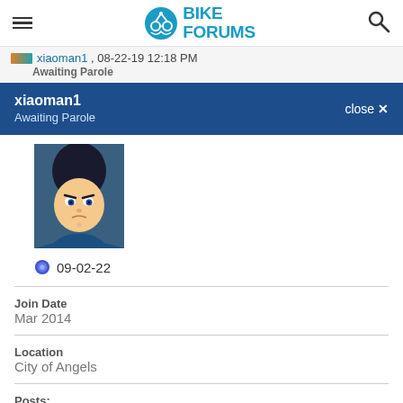Bike Forums
xiaoman1 , 08-22-19 12:18 PM
Awaiting Parole
xiaoman1
Awaiting Parole
[Figure (photo): User avatar: animated character with dark hair and blue outfit]
09-02-22
Join Date
Mar 2014
Location
City of Angels
Posts: